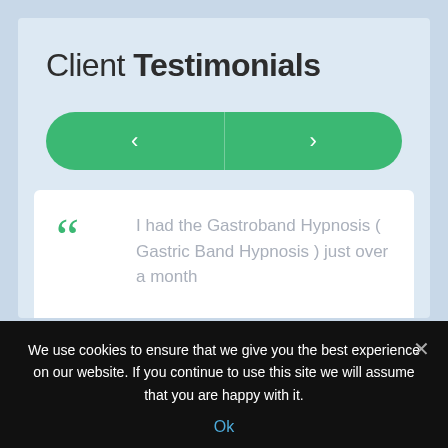Client Testimonials
[Figure (other): Green pill-shaped navigation bar with left chevron (<) and right chevron (>) buttons separated by a vertical divider]
I had the Gastroband Hypnosis ( Gastric Band Hypnosis ) just over a month
We use cookies to ensure that we give you the best experience on our website. If you continue to use this site we will assume that you are happy with it.
Ok